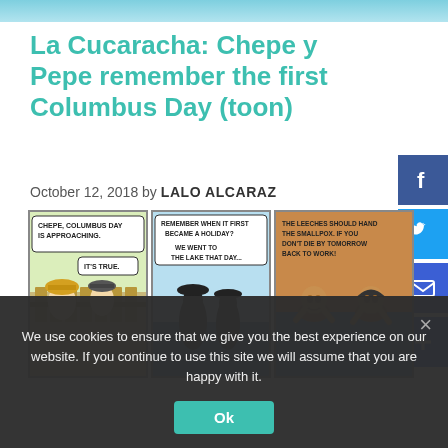La Cucaracha: Chepe y Pepe remember the first Columbus Day (toon)
October 12, 2018 by LALO ALCARAZ
[Figure (illustration): Three-panel comic strip: Panel 1 shows two characters (Chepe and Pepe) talking, text reads 'CHEPE, COLUMBUS DAY IS APPROACHING.' and 'IT'S TRUE.'; Panel 2 silhouette of two figures, text 'REMEMBER WHEN IT FIRST BECAME A HOLIDAY? WE WENT TO THE LAKE THAT DAY...'; Panel 3 two indigenous people in water with leeches, text 'THE LEECHES SHOULD HAND THE SMALLPOX. IF YOU DON'T DIE BY TOMORROW BACK TO WORK!']
We use cookies to ensure that we give you the best experience on our website. If you continue to use this site we will assume that you are happy with it.